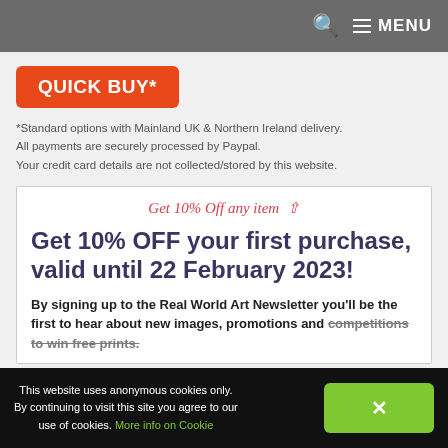MENU
QUICK BUY*
*Standard options with Mainland UK & Northern Ireland delivery.
All payments are securely processed by Paypal.
Your credit card details are not collected/stored by this website.
Get 10% Off any item ↑
Get 10% OFF your first purchase, valid until 22 February 2023!
By signing up to the Real World Art Newsletter you'll be the first to hear about new images, promotions and competitions to win free prints.
This website uses anonymous cookies only.
By continuing to visit this site you agree to our use of cookies. More info on Cookie